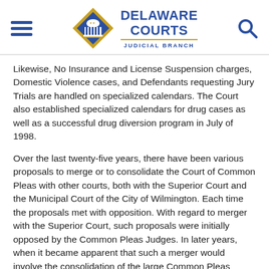Delaware Courts Judicial Branch
Likewise, No Insurance and License Suspension charges, Domestic Violence cases, and Defendants requesting Jury Trials are handled on specialized calendars. The Court also established specialized calendars for drug cases as well as a successful drug diversion program in July of 1998.
Over the last twenty-five years, there have been various proposals to merge or to consolidate the Court of Common Pleas with other courts, both with the Superior Court and the Municipal Court of the City of Wilmington. Each time the proposals met with opposition. With regard to merger with the Superior Court, such proposals were initially opposed by the Common Pleas Judges. In later years, when it became apparent that such a merger would involve the consolidation of the large Common Pleas caseload into Superior Court, such proposals were opposed by the